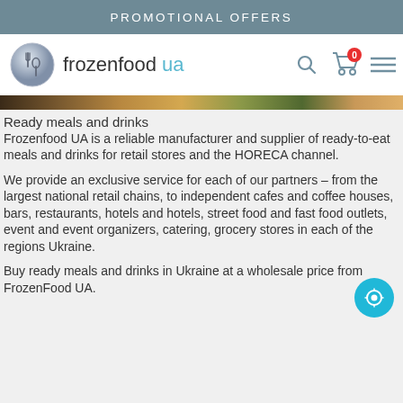PROMOTIONAL OFFERS
[Figure (logo): Frozenfood UA website navigation bar with logo (fork and spoon icon in silver circle), text 'frozenfood ua', search icon, cart icon with 0 badge, and hamburger menu icon]
[Figure (photo): Narrow horizontal strip of food photo at top of content area]
Ready meals and drinks
Frozenfood UA is a reliable manufacturer and supplier of ready-to-eat meals and drinks for retail stores and the HORECA channel.
We provide an exclusive service for each of our partners – from the largest national retail chains, to independent cafes and coffee houses, bars, restaurants, hotels and hotels, street food and fast food outlets, event and event organizers, catering, grocery stores in each of the regions Ukraine.
Buy ready meals and drinks in Ukraine at a wholesale price from FrozenFood UA.